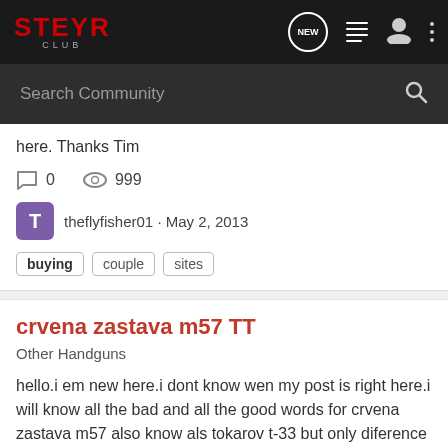STEYR CLUB — navigation header with NEW, list, user, menu icons
Search Community
here. Thanks Tim
0   999
theflyfisher01 · May 2, 2013
buying   couple   sites
crvena zastava m57 TT
Other Handguns
hello.i em new here.i dont know wen my post is right here.i will know all the bad and all the good words for crvena zastava m57 also know als tokarov t-33 but only diference with 9 bullet.the yougoslavian version of course.the original tt-33 has just 8 rounds.so please tell me all that you know...
10   6K